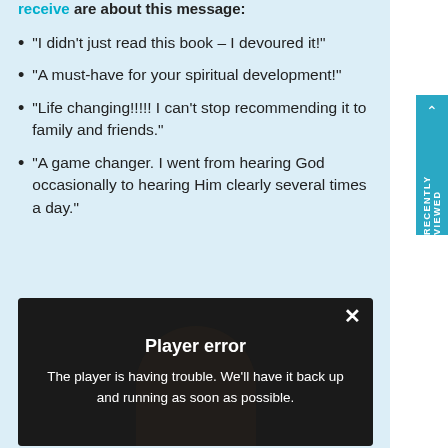receive are about this message:
“I didn’t just read this book – I devoured it!”
“A must-have for your spiritual development!”
“Life changing!!!!! I can’t stop recommending it to family and friends.”
“A game changer. I went from hearing God occasionally to hearing Him clearly several times a day.”
[Figure (screenshot): Video player showing a person with a 'Player error' overlay message. Text reads: 'Player error' and 'The player is having trouble. We’ll have it back up and running as soon as possible.' with a close (X) button in the top right.]